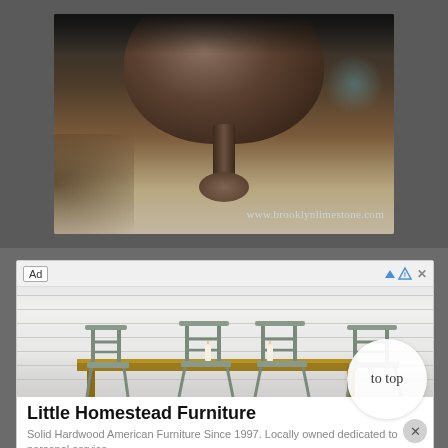[Figure (photo): Close-up photograph of an antique globe or lamp base with a dark metal stem/nozzle fitting, with blurred brown tones and a teal background highlight. Watermark reads www.brooklynlimestone.com]
[Figure (screenshot): Advertisement panel with 'Ad' label and AdChoices/close icons in header bar. Shows photo of a farmhouse dining table with four grey ladder-back chairs and two candles on a white shiplap background. Below the image: title 'Little Homestead Furniture' in bold, subtitle 'Solid Hardwood American Furniture Since 1997. Locally owned dedicated to personal service'. A circular 'to top' button overlays the lower right. A close (x) button is in the bottom right corner.]
Little Homestead Furniture
Solid Hardwood American Furniture Since 1997. Locally owned dedicated to personal service